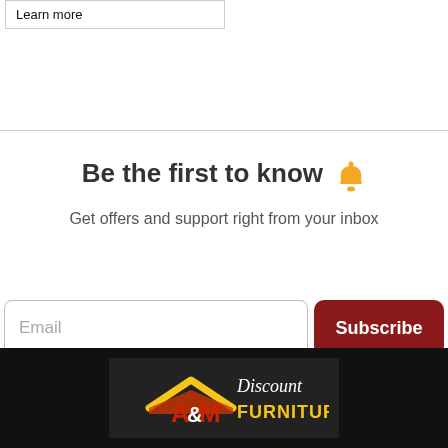Learn more
Be the first to know 🔔
Get offers and support right from your inbox
[Figure (screenshot): Email input field with placeholder text 'Email' and a dark red 'Subscribe' button]
[Figure (logo): A&M Discount Furniture logo on black background with yellow chevron/rooftop shape, red and white A&M text, white cursive Discount, and yellow FURNITURE text]